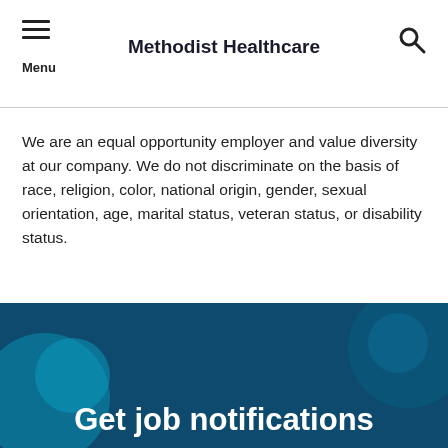Methodist Healthcare
We are an equal opportunity employer and value diversity at our company. We do not discriminate on the basis of race, religion, color, national origin, gender, sexual orientation, age, marital status, veteran status, or disability status.
Get job notifications